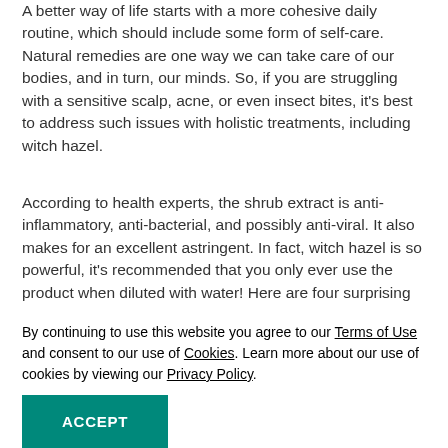A better way of life starts with a more cohesive daily routine, which should include some form of self-care. Natural remedies are one way we can take care of our bodies, and in turn, our minds. So, if you are struggling with a sensitive scalp, acne, or even insect bites, it's best to address such issues with holistic treatments, including witch hazel.
According to health experts, the shrub extract is anti-inflammatory, anti-bacterial, and possibly anti-viral. It also makes for an excellent astringent. In fact, witch hazel is so powerful, it's recommended that you only ever use the product when diluted with water! Here are four surprising ways you can use witch hazel in your daily life. Check out the suggestions below.
By continuing to use this website you agree to our Terms of Use and consent to our use of Cookies. Learn more about our use of cookies by viewing our Privacy Policy.
Witch hazel's anti-inflammatory nature makes it a great choice ... to soothe their scalp. If you're suffering from ... allergic reaction, dandruff, or something similar, try rinsing your hair and scalp with diluted witch hazel. Follow...